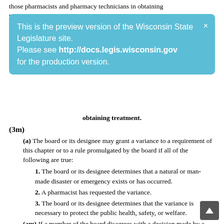those pharmacists and pharmacy technicians in obtaining treatment.
[Figure (screenshot): Preview banner: 'This is the preview version of the Wisconsin State Legislature site. Please see http://docs.legis.wisconsin.gov for the production version.']
obtaining treatment.
(3m)
(a) The board or its designee may grant a variance to a requirement of this chapter or to a rule promulgated by the board if all of the following are true:
1. The board or its designee determines that a natural or man-made disaster or emergency exists or has occurred.
2. A pharmacist has requested the variance.
3. The board or its designee determines that the variance is necessary to protect the public health, safety, or welfare.
(am) If a member of the board disagrees with a decision made by a designee under par. (a) or sub. (3r), the board chairperson shall call a meeting of the board as soon as practicable to review the decision. The board may affirm or modify the designee's decision.
(b) A variance granted under par. (a) shall be for a stated term not to exceed 90 days, except that the board or its designee may extend the variance upon request by a pharmacist in...